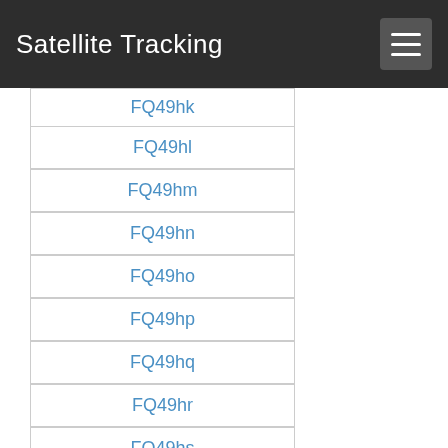Satellite Tracking
FQ49hk
FQ49hl
FQ49hm
FQ49hn
FQ49ho
FQ49hp
FQ49hq
FQ49hr
FQ49hs
FQ49ht
FQ49hu
FQ49hv
FQ49hw
FQ49hx
FQ49ia
FQ49ib
FQ49ic
FQ49id